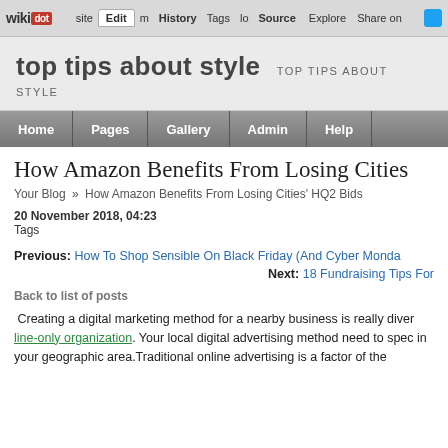wikidot | Edit | History | Tags | Source | Explore | Share on [Twitter]
top tips about style | TOP TIPS ABOUT STYLE
Home | Pages | Gallery | Admin | Help
How Amazon Benefits From Losing Cities' HQ2 Bids
Your Blog » How Amazon Benefits From Losing Cities' HQ2 Bids
20 November 2018, 04:23
Tags
Previous: How To Shop Sensible On Black Friday (And Cyber Monda…
Next: 18 Fundraising Tips For…
Back to list of posts
Creating a digital marketing method for a nearby business is really diver… line-only organization. Your local digital advertising method need to spec… in your geographic area.Traditional online advertising is a factor of the…